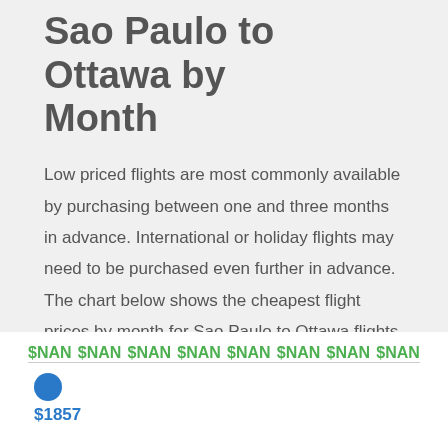Sao Paulo to Ottawa by Month
Low priced flights are most commonly available by purchasing between one and three months in advance. International or holiday flights may need to be purchased even further in advance. The chart below shows the cheapest flight prices by month for Sao Paulo to Ottawa flights.
[Figure (continuous-plot): Chart showing cheapest flight prices by month for Sao Paulo to Ottawa. NaN values displayed across the top axis row. A blue dot marker appears with a price label of $1857 below the chart area.]